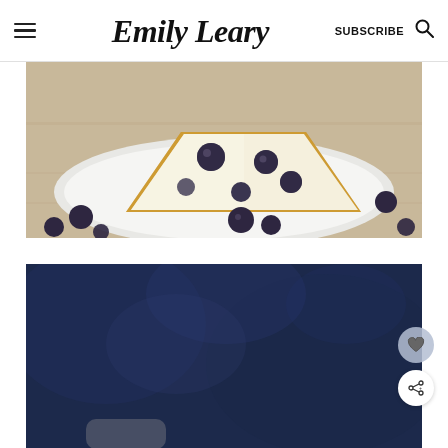Emily Leary — SUBSCRIBE
[Figure (photo): A slice of blueberry cheesecake on a white plate, surrounded by fresh blueberries on a light wooden surface.]
[Figure (photo): Dark navy blue background, partially blurred, with some light reflections, beginning of a new food photo.]